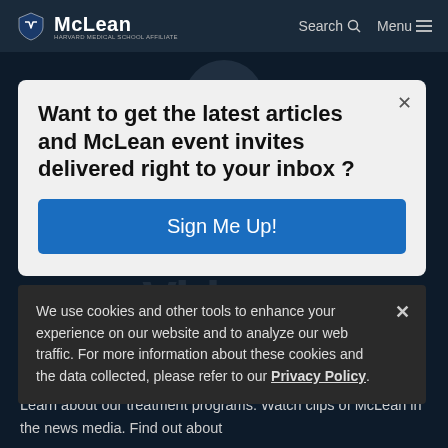McLean | Search | Menu
Want to get the latest articles and McLean event invites delivered right to your inbox ?
Sign Me Up!
We use cookies and other tools to enhance your experience on our website and to analyze our web traffic. For more information about these cookies and the data collected, please refer to our Privacy Policy.
Learn about our treatment programs. Watch clips of McLean in the news media. Find out about